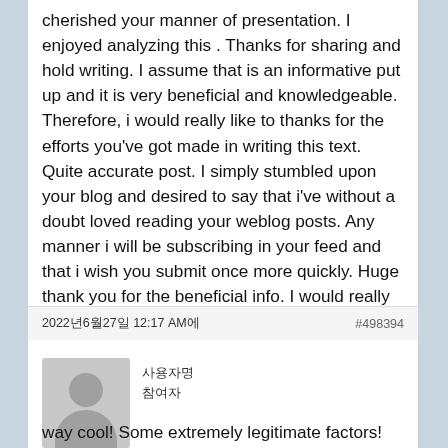cherished your manner of presentation. I enjoyed analyzing this . Thanks for sharing and hold writing. I assume that is an informative put up and it is very beneficial and knowledgeable. Therefore, i would really like to thanks for the efforts you've got made in writing this text. Quite accurate post. I simply stumbled upon your blog and desired to say that i've without a doubt loved reading your weblog posts. Any manner i will be subscribing in your feed and that i wish you submit once more quickly. Huge thank you for the beneficial info. I would really like to mention that this blog without a doubt convinced me to do it! Thanks, very good put up 🙏🙏🙏🙏🙏
2022年6月27日 12:17 AM에
#498394
[Figure (illustration): Default user avatar showing silhouette of a person (head and shoulders) on grey background]
사용자명
참여자
way cool! Some extremely legitimate factors!